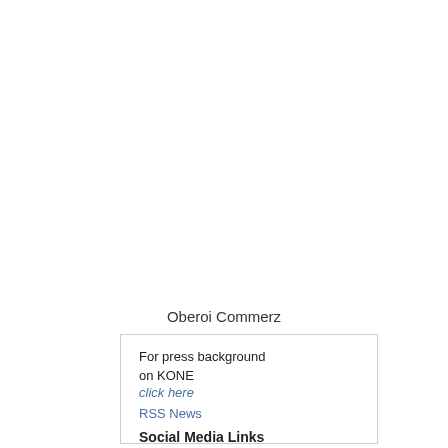Oberoi Commerz
For press background on KONE
click here
RSS News
Social Media Links